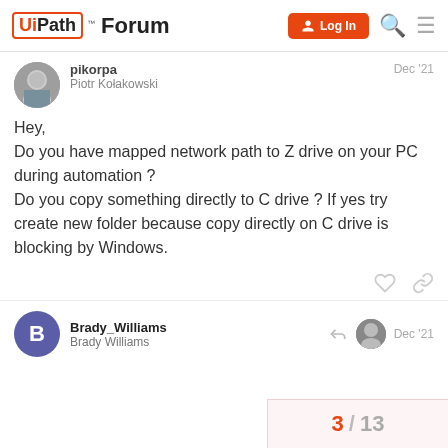UiPath Forum — Log In
pikorpa
Piotr Kołakowski
Dec '21
Hey,
Do you have mapped network path to Z drive on your PC during automation ?
Do you copy something directly to C drive ? If yes try create new folder because copy directly on C drive is blocking by Windows.
Brady_Williams
Brady Williams
Dec '21
3 / 13